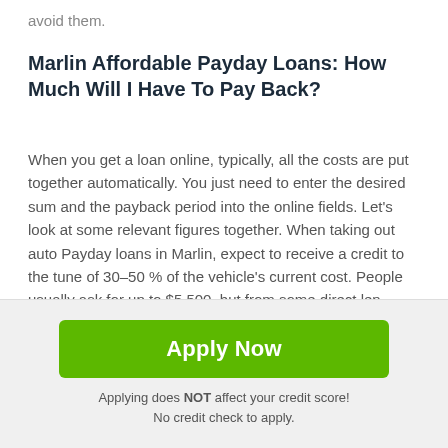avoid them.
Marlin Affordable Payday Loans: How Much Will I Have To Pay Back?
When you get a loan online, typically, all the costs are put together automatically. You just need to enter the desired sum and the payback period into the online fields. Let's look at some relevant figures together. When taking out auto Payday loans in Marlin, expect to receive a credit to the tune of 30–50 % of the vehicle's current cost. People usually ask for up to $5,500, but from some direct lenders it is possible to get more. You can also take out as little as $100, just for immediate needs.
[Figure (other): Green Apply Now button with disclaimer text below it]
Applying does NOT affect your credit score!
No credit check to apply.